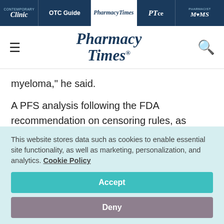Clinic | OTC Guide | Pharmacy Times | PTce | Pharmacist MOMS
[Figure (logo): Pharmacy Times logo with hamburger menu and search icon]
myeloma," he said.
A PFS analysis following the FDA recommendation on censoring rules, as applied in the approved United States prescribing information, showed an mPFS of 41.7 months
This website stores data such as cookies to enable essential site functionality, as well as marketing, personalization, and analytics. Cookie Policy
Accept
Deny